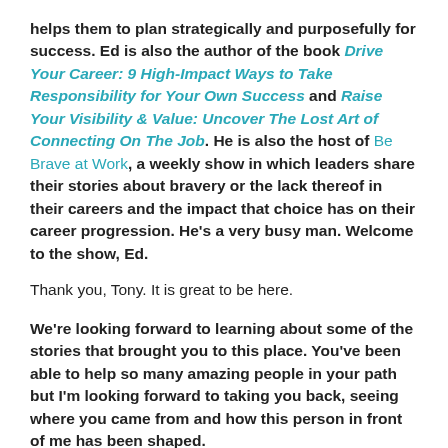helps them to plan strategically and purposefully for success. Ed is also the author of the book Drive Your Career: 9 High-Impact Ways to Take Responsibility for Your Own Success and Raise Your Visibility & Value: Uncover The Lost Art of Connecting On The Job. He is also the host of Be Brave at Work, a weekly show in which leaders share their stories about bravery or the lack thereof in their careers and the impact that choice has on their career progression. He's a very busy man. Welcome to the show, Ed.
Thank you, Tony. It is great to be here.
We're looking forward to learning about some of the stories that brought you to this place. You've been able to help so many amazing people in your path but I'm looking forward to taking you back, seeing where you came from and how this person in front of me has been shaped.
I hope my stories can inspire and influence people. I'm not sure that they will, but hopefully.